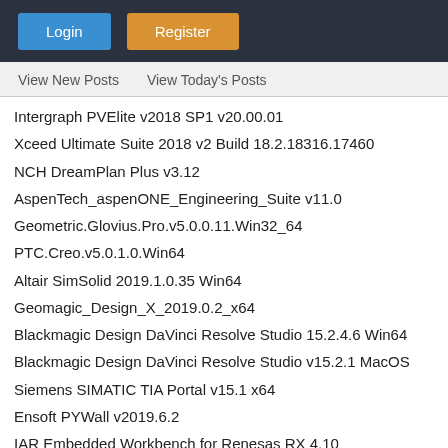Login  Register
View New Posts   View Today's Posts
Intergraph PVElite v2018 SP1 v20.00.01
Xceed Ultimate Suite 2018 v2 Build 18.2.18316.17460
NCH DreamPlan Plus v3.12
AspenTech_aspenONE_Engineering_Suite v11.0
Geometric.Glovius.Pro.v5.0.0.11.Win32_64
PTC.Creo.v5.0.1.0.Win64
Altair SimSolid 2019.1.0.35 Win64
Geomagic_Design_X_2019.0.2_x64
Blackmagic Design DaVinci Resolve Studio 15.2.4.6 Win64
Blackmagic Design DaVinci Resolve Studio v15.2.1 MacOS
Siemens SIMATIC TIA Portal v15.1 x64
Ensoft PYWall v2019.6.2
IAR Embedded Workbench for Renesas RX 4.10
Autodesk Nastran v2019 R1 Multilingual Win64
Optenni Lab v4.3 x64
Sulzer.SULCOL v3.3.6
FEI.Avizo v9.4